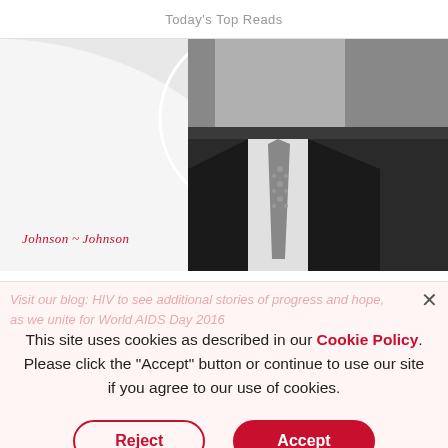Today's Top Reads
[Figure (photo): Johnson & Johnson branded hero image with a black and white photo of a man in a suit and tie on the right side, and a white circular graphic overlay on the left side. Johnson & Johnson logo in red italic script at bottom left.]
Visit our blog: HIV to see additional stories of progress and hope, as we unite for World AIDS Day 2016
This site uses cookies as described in our Cookie Policy. Please click the "Accept" button or continue to use our site if you agree to our use of cookies.
Reject
Accept